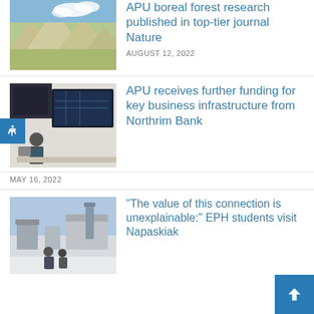[Figure (photo): Landscape photo of a mountainous tundra scene with blue sky and clouds]
APU boreal forest research published in top-tier journal Nature
AUGUST 12, 2022
[Figure (photo): Photo of a person working at a computer workstation with large monitors displaying maps]
APU receives further funding for key business infrastructure from Northrim Bank
MAY 16, 2022
[Figure (photo): Photo of people outside in a snowy village setting]
“The value of this connection is unexplainable:” EPH students visit Napaskiak